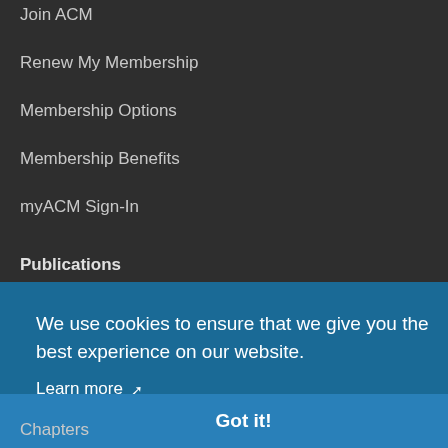Join ACM
Renew My Membership
Membership Options
Membership Benefits
myACM Sign-In
Publications
We use cookies to ensure that we give you the best experience on our website.
Learn more ↗
Got it!
Chapters